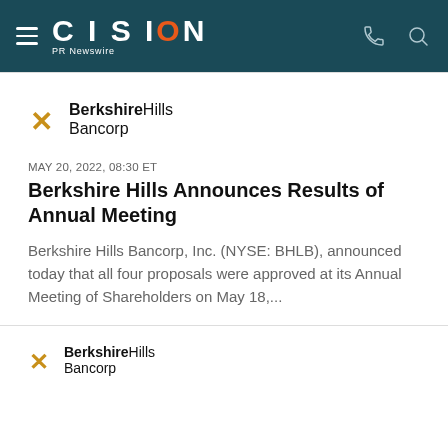CISION PR Newswire
[Figure (logo): Berkshire Hills Bancorp logo with golden X icon and two-tone wordmark]
MAY 20, 2022, 08:30 ET
Berkshire Hills Announces Results of Annual Meeting
Berkshire Hills Bancorp, Inc. (NYSE: BHLB), announced today that all four proposals were approved at its Annual Meeting of Shareholders on May 18,...
[Figure (logo): Berkshire Hills Bancorp logo (partial, second instance)]